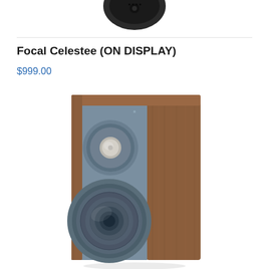[Figure (photo): Partial top view of a black headphone or audio device, cropped at the top of the page]
Focal Celestee (ON DISPLAY)
$999.00
[Figure (photo): Focal Chora 806 or similar bookshelf speaker with walnut wood side panels and grey-blue front baffle, featuring a tweeter and woofer, photographed at a slight angle]